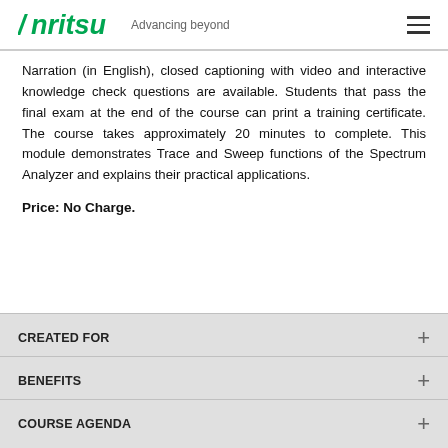Anritsu Advancing beyond
Narration (in English), closed captioning with video and interactive knowledge check questions are available. Students that pass the final exam at the end of the course can print a training certificate. The course takes approximately 20 minutes to complete. This module demonstrates Trace and Sweep functions of the Spectrum Analyzer and explains their practical applications.
Price: No Charge.
CREATED FOR
BENEFITS
COURSE AGENDA